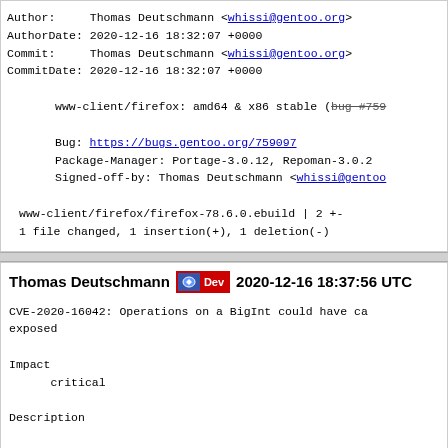Author: Thomas Deutschmann <whissi@gentoo.org>
AuthorDate: 2020-12-16 18:32:07 +0000
Commit: Thomas Deutschmann <whissi@gentoo.org>
CommitDate: 2020-12-16 18:32:07 +0000

    www-client/firefox: amd64 & x86 stable (bug #759...

    Bug: https://bugs.gentoo.org/759097
    Package-Manager: Portage-3.0.12, Repoman-3.0.2
    Signed-off-by: Thomas Deutschmann <whissi@gentoo...

www-client/firefox/firefox-78.6.0.ebuild | 2 +-
1 file changed, 1 insertion(+), 1 deletion(-)
Thomas Deutschmann [Dev] 2020-12-16 18:37:56 UTC

CVE-2020-16042: Operations on a BigInt could have ca... exposed

Impact
    critical

Description

When a BigInt was right-shifted the backing store wa... allowing uninitialized memory to be read.
References